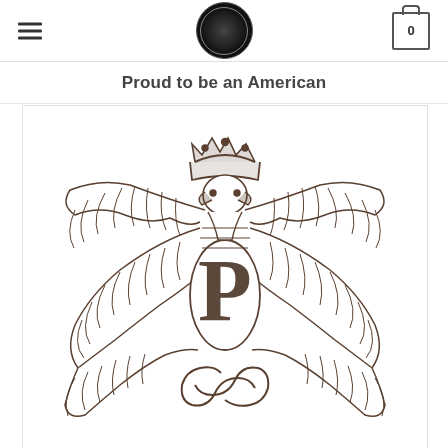Shirt Vintage logo and navigation header with hamburger menu and cart icon showing 0
Proud to be an American
[Figure (illustration): Polish eagle heraldic illustration — a double-headed or spread-wing eagle with a crown at the top and a decorative 'P' letterform in the center body, with ornate wing feather detailing in brown/sepia line art on white background. Additional scroll lettering visible at the bottom.]